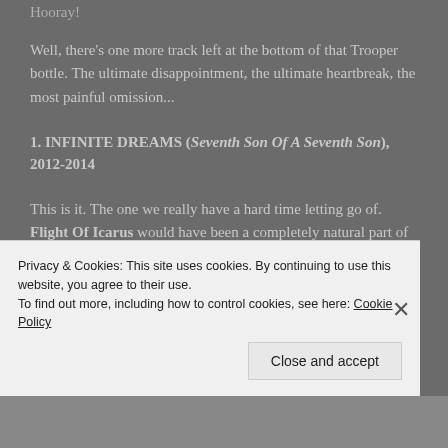Hooray!
Well, there's one more track left at the bottom of that Trooper bottle. The ultimate disappointment, the ultimate heartbreak, the most painful omission...
1. INFINITE DREAMS (Seventh Son Of A Seventh Son), 2012-2014
This is it. The one we really have a hard time letting go of. Flight Of Icarus would have been a completely natural part of either of the first two History sets. But Infinite
Privacy & Cookies: This site uses cookies. By continuing to use this website, you agree to their use.
To find out more, including how to control cookies, see here: Cookie Policy
Close and accept